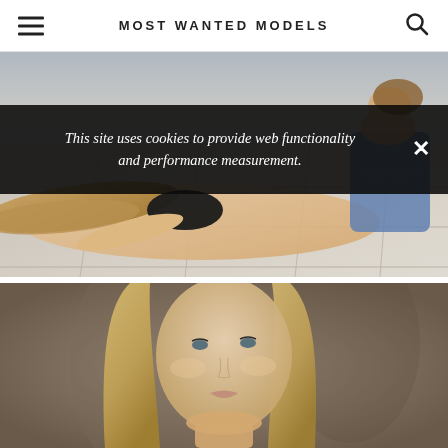MOST WANTED MODELS
[Figure (photo): Fashion photo: two models, one lying on a stone/concrete floor in a black bralette with long blonde hair, the other crouching wearing ripped denim jeans, outdoor/studio setting]
This site uses cookies to provide web functionality and performance measurement.
[Figure (photo): Portrait photo: close-up of a blonde female model with straight hair looking slightly upward, against a blurred grey/brown background]